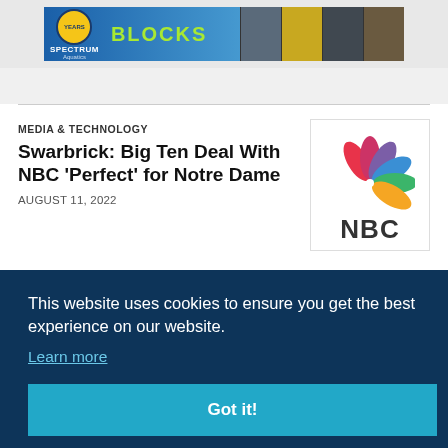[Figure (photo): Spectrum Aquatics advertisement banner showing 'BLOCKS' text with product images of pool equipment]
MEDIA & TECHNOLOGY
Swarbrick: Big Ten Deal With NBC 'Perfect' for Notre Dame
AUGUST 11, 2022
[Figure (logo): NBC peacock logo with colorful feathers and 'NBC' text below]
This website uses cookies to ensure you get the best experience on our website.
Learn more
Got it!
MARKETING
[Figure (logo): Partial LG logo in blue on right side]
[Figure (logo): Partial arch/roof logo at bottom right]